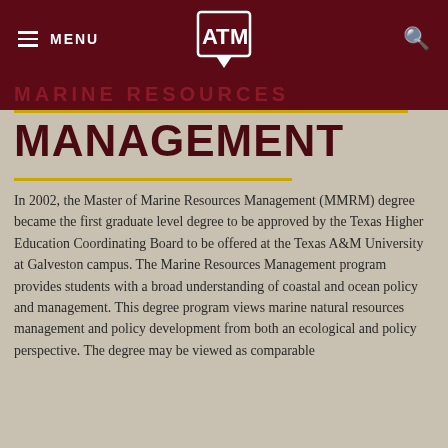MENU [ATM Logo] [Search]
MARINE RESOURCES
MANAGEMENT
In 2002, the Master of Marine Resources Management (MMRM) degree became the first graduate level degree to be approved by the Texas Higher Education Coordinating Board to be offered at the Texas A&M University at Galveston campus. The Marine Resources Management program provides students with a broad understanding of coastal and ocean policy and management. This degree program views marine natural resources management and policy development from both an ecological and policy perspective. The degree may be viewed as comparable